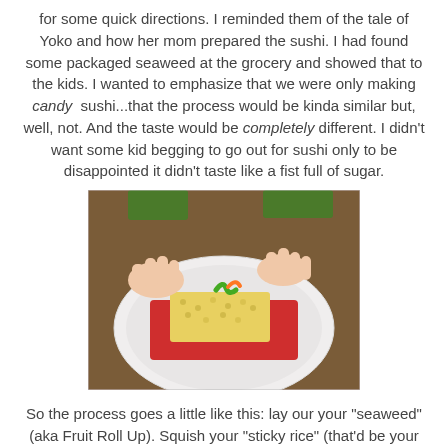for some quick directions. I reminded them of the tale of Yoko and how her mom prepared the sushi. I had found some packaged seaweed at the grocery and showed that to the kids. I wanted to emphasize that we were only making candy sushi...that the process would be kinda similar but, well, not. And the taste would be completely different. I didn't want some kid begging to go out for sushi only to be disappointed it didn't taste like a fist full of sugar.
[Figure (photo): Child's hands arranging candy sushi on a white paper plate — a red Fruit Roll-Up with a Rice Krispie Treat and candy worms on top, on a wooden table.]
So the process goes a little like this: lay our your "seaweed" (aka Fruit Roll Up). Squish your "sticky rice" (that'd be your sticky Rice Krispie Treat) to make it about the same size as your seaweed. Place it on the seaweed and put some